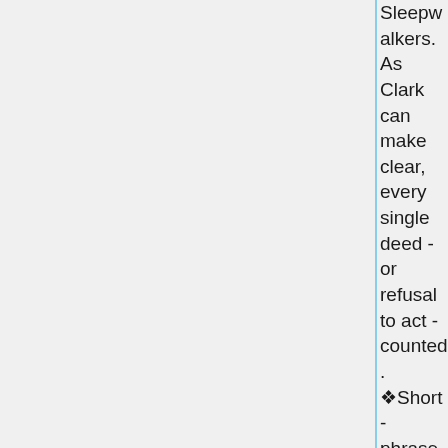Sleepwalkers. As Clark can make clear, every single deed - or refusal to act - counted. ❖Short-phrase, contingent realignments❖ shifted rapidly across an ❖opaque and unpredictable❖ method. The numerous